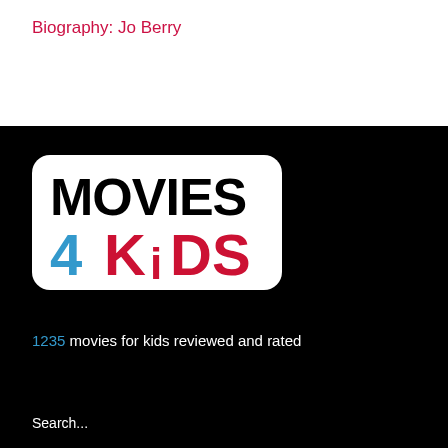Biography: Jo Berry
[Figure (logo): Movies 4 Kids logo — white rounded rectangle with 'MOVIES' in bold black text, '4' in blue, 'KiDS' in bold red/crimson text]
1235 movies for kids reviewed and rated
Search...